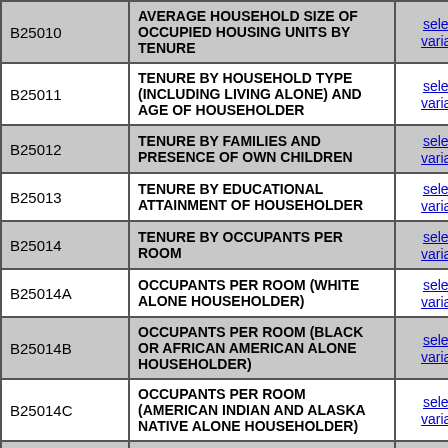| Code | Description | Link |
| --- | --- | --- |
| B25010 | AVERAGE HOUSEHOLD SIZE OF OCCUPIED HOUSING UNITS BY TENURE | selected variables |
| B25011 | TENURE BY HOUSEHOLD TYPE (INCLUDING LIVING ALONE) AND AGE OF HOUSEHOLDER | selected variables |
| B25012 | TENURE BY FAMILIES AND PRESENCE OF OWN CHILDREN | selected variables |
| B25013 | TENURE BY EDUCATIONAL ATTAINMENT OF HOUSEHOLDER | selected variables |
| B25014 | TENURE BY OCCUPANTS PER ROOM | selected variables |
| B25014A | OCCUPANTS PER ROOM (WHITE ALONE HOUSEHOLDER) | selected variables |
| B25014B | OCCUPANTS PER ROOM (BLACK OR AFRICAN AMERICAN ALONE HOUSEHOLDER) | selected variables |
| B25014C | OCCUPANTS PER ROOM (AMERICAN INDIAN AND ALASKA NATIVE ALONE HOUSEHOLDER) | selected variables |
| B25014D | OCCUPANTS PER ROOM (ASIAN ALONE HOUSEHOLDER) | selected variables |